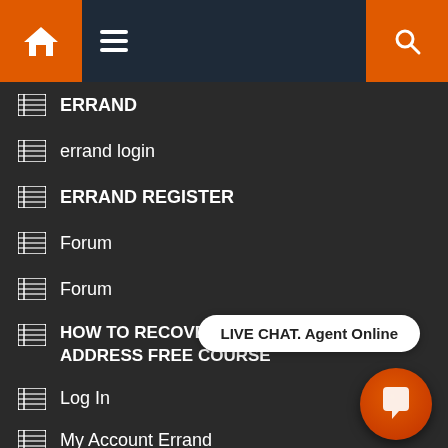[Figure (screenshot): Top navigation bar with orange home button, hamburger menu icon on dark blue background, and orange search button]
ERRAND
errand login
ERRAND REGISTER
Forum
Forum
HOW TO RECOVER COIN SENT TO WRONG ADDRESS FREE COURSE
Log In
My Account Errand
Newsletter Signup
LIVE CHAT. Agent Online